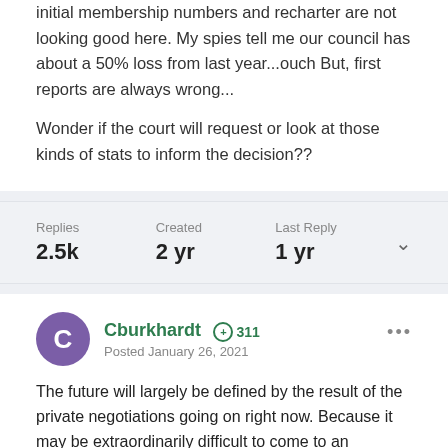initial membership numbers and recharter are not looking good here. My spies tell me our council has about a 50% loss from last year...ouch But, first reports are always wrong...
Wonder if the court will request or look at those kinds of stats to inform the decision??
| Replies | Created | Last Reply |
| --- | --- | --- |
| 2.5k | 2 yr | 1 yr |
Cburkhardt ⊕ 311
Posted January 26, 2021
The future will largely be defined by the result of the private negotiations going on right now. Because it may be extraordinarily difficult to come to an agreement acceptable to all major parties, a principal determinant of BSA's future may be whether there can be a financial arrangement the Judge will deem acceptable to order as a cramdown. She is uniquely